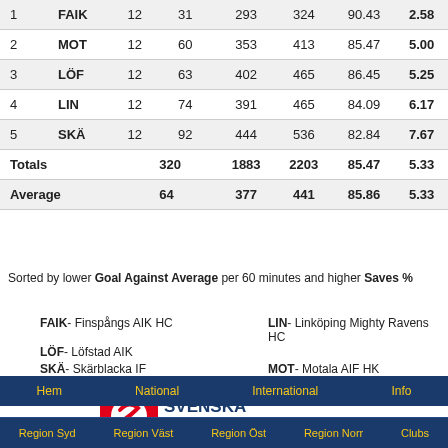| # | Team | GP | GA | Saves | Shots | Saves% | GAA |
| --- | --- | --- | --- | --- | --- | --- | --- |
| 1 | FAIK | 12 | 31 | 293 | 324 | 90.43 | 2.58 |
| 2 | MOT | 12 | 60 | 353 | 413 | 85.47 | 5.00 |
| 3 | LÖF | 12 | 63 | 402 | 465 | 86.45 | 5.25 |
| 4 | LIN | 12 | 74 | 391 | 465 | 84.09 | 6.17 |
| 5 | SKÄ | 12 | 92 | 444 | 536 | 82.84 | 7.67 |
| Totals |  |  | 320 | 1883 | 2203 | 85.47 | 5.33 |
| Average |  |  | 64 | 377 | 441 | 85.86 | 5.33 |
Sorted by lower Goal Against Average per 60 minutes and higher Saves %
FAIK- Finspångs AIK HC
LIN- Linköping Mighty Ravens HC
LÖF- Löfstad AIK
MOT- Motala AIF HK
SKÄ- Skärblacka IF
[Figure (logo): Svenska Spel logo with text 'ishockeyns huvudsponsor']
Hem  National  International  Info  Region Syd  Region Väst  Region Öst  Region Norr  Clubs